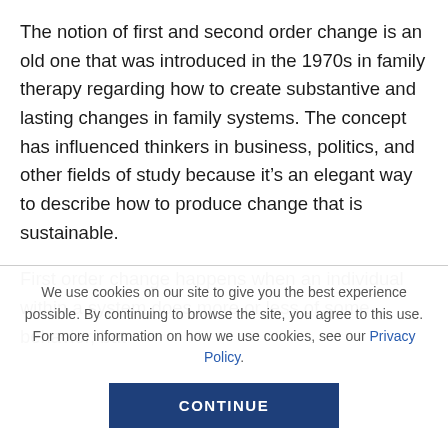The notion of first and second order change is an old one that was introduced in the 1970s in family therapy regarding how to create substantive and lasting changes in family systems. The concept has influenced thinkers in business, politics, and other fields of study because it's an elegant way to describe how to produce change that is sustainable.
First order change happens when an individual within a system does more or less of some behavior, but
We use cookies on our site to give you the best experience possible. By continuing to browse the site, you agree to this use. For more information on how we use cookies, see our Privacy Policy.